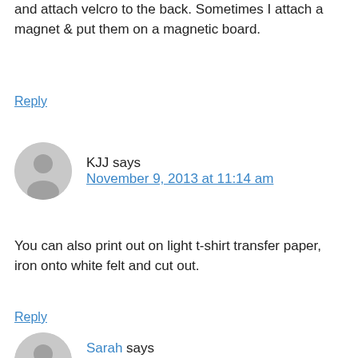and attach velcro to the back. Sometimes I attach a magnet & put them on a magnetic board.
Reply
KJJ says
November 9, 2013 at 11:14 am
You can also print out on light t-shirt transfer paper, iron onto white felt and cut out.
Reply
Sarah says